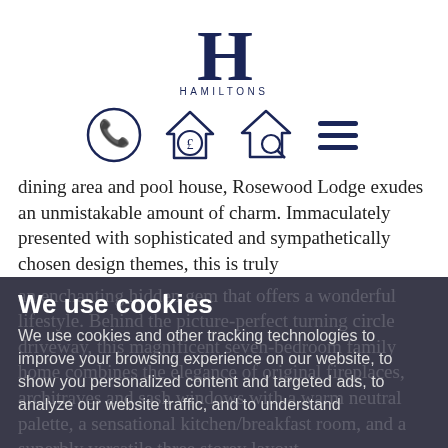[Figure (logo): Hamiltons estate agency logo: large serif H with HAMILTONS text below]
[Figure (infographic): Navigation icons: phone in circle, house with pound sign, house with magnifier, hamburger menu]
dining area and pool house, Rosewood Lodge exudes an unmistakable amount of charm. Immaculately presented with sophisticated and sympathetically chosen design themes, this is truly
an enchanting hidden gem that offers a wonderful lifestyle. Behind the picture-perfect turning circle driveway, this magnificent seven-bedroom family home combines the elegance of original fireplaces, architraves and sash windows with a warm neutral palette, a sensational kitchen/breakfast room, and a superbly versatile three storey layout. Retaining an abundance of character, Rosewood
We use cookies
We use cookies and other tracking technologies to improve your browsing experience on our website, to show you personalized content and targeted ads, to analyze our website traffic, and to understand